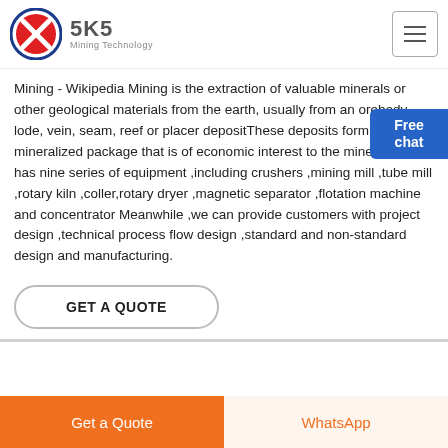[Figure (logo): SKS Mining Technology logo with circular red and white emblem and company name]
Mining - Wikipedia Mining is the extraction of valuable minerals or other geological materials from the earth, usually from an orebody, lode, vein, seam, reef or placer depositThese deposits form a mineralized package that is of economic interest to the minerZhongde has nine series of equipment ,including crushers ,mining mill ,tube mill ,rotary kiln ,coller,rotary dryer ,magnetic separator ,flotation machine and concentrator Meanwhile ,we can provide customers with project design ,technical process flow design ,standard and non-standard design and manufacturing.
[Figure (illustration): Free chat button widget — blue rounded rectangle with 'Free chat' text and a person illustration]
GET A QUOTE
Get a Quote
WhatsApp